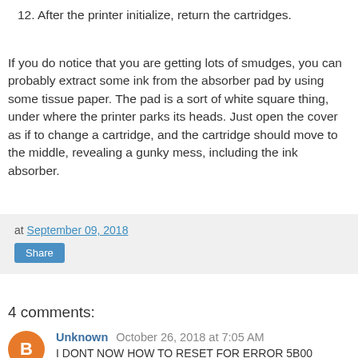12. After the printer initialize, return the cartridges.
If you do notice that you are getting lots of smudges, you can probably extract some ink from the absorber pad by using some tissue paper. The pad is a sort of white square thing, under where the printer parks its heads. Just open the cover as if to change a cartridge, and the cartridge should move to the middle, revealing a gunky mess, including the ink absorber.
at September 09, 2018 Share
4 comments:
Unknown  October 26, 2018 at 7:05 AM
I DONT NOW HOW TO RESET FOR ERROR 5B00
Reply